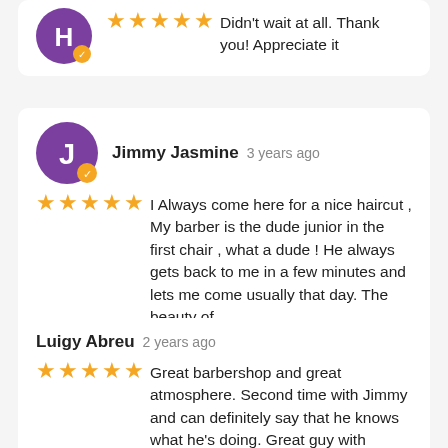Didn't wait at all.  Thank you!  Appreciate it
Jimmy Jasmine  3 years ago
I Always come here for a nice haircut , My barber is the dude junior in the first chair , what a dude ! He always gets back to me in a few minutes and lets me come usually that day. The beauty of
read more
Luigy Abreu  2 years ago
Great barbershop and great atmosphere. Second time with Jimmy and can definitely say that he knows what he's doing. Great guy with awesome professionalism. Recommend!